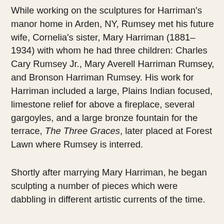While working on the sculptures for Harriman's manor home in Arden, NY, Rumsey met his future wife, Cornelia's sister, Mary Harriman (1881–1934) with whom he had three children: Charles Cary Rumsey Jr., Mary Averell Harriman Rumsey, and Bronson Harriman Rumsey. His work for Harriman included a large, Plains Indian focused, limestone relief for above a fireplace, several gargoyles, and a large bronze fountain for the terrace, The Three Graces, later placed at Forest Lawn where Rumsey is interred.
Shortly after marrying Mary Harriman, he began sculpting a number of pieces which were dabbling in different artistic currents of the time.